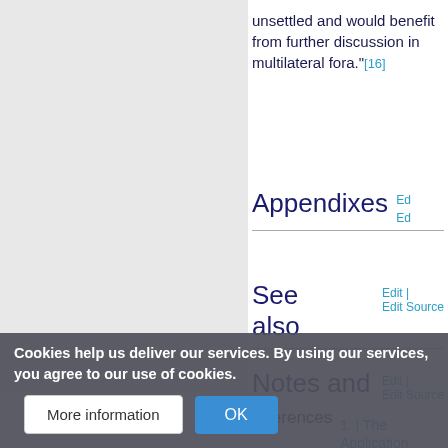unsettled and would benefit from further discussion in multilateral fora."[16]
Appendixes
See also
Notes and references
1. The Application ... national Law
Cookies help us deliver our services. By using our services, you agree to our use of cookies.